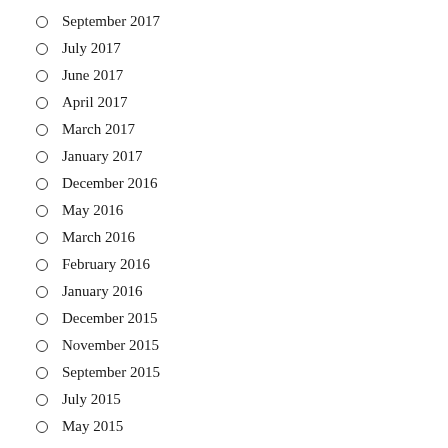September 2017
July 2017
June 2017
April 2017
March 2017
January 2017
December 2016
May 2016
March 2016
February 2016
January 2016
December 2015
November 2015
September 2015
July 2015
May 2015